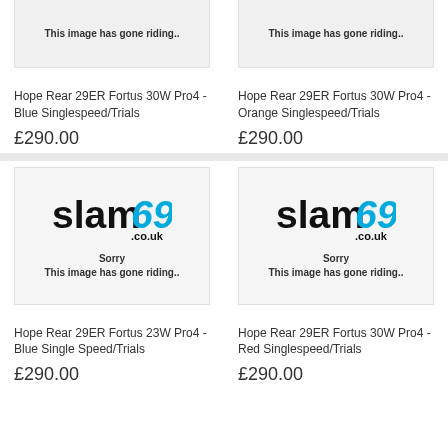[Figure (photo): Placeholder image showing slam69.co.uk logo with text: Sorry, This image has gone riding.. (Blue Singlespeed product)]
[Figure (photo): Placeholder image showing slam69.co.uk logo with text: Sorry, This image has gone riding.. (Orange Singlespeed product)]
Hope Rear 29ER Fortus 30W Pro4 - Blue Singlespeed/Trials
£290.00
Hope Rear 29ER Fortus 30W Pro4 - Orange Singlespeed/Trials
£290.00
[Figure (photo): Placeholder image showing slam69.co.uk logo with text: Sorry, This image has gone riding.. (Blue Single Speed product)]
[Figure (photo): Placeholder image showing slam69.co.uk logo with text: Sorry, This image has gone riding.. (Red Singlespeed product)]
Hope Rear 29ER Fortus 23W Pro4 - Blue Single Speed/Trials
£290.00
Hope Rear 29ER Fortus 30W Pro4 - Red Singlespeed/Trials
£290.00